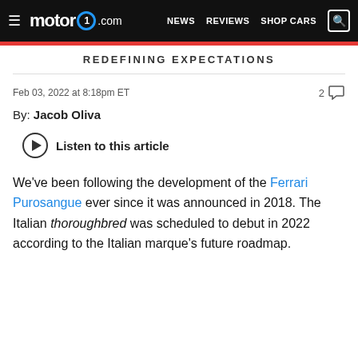motor1.com — NEWS  REVIEWS  SHOP CARS
REDEFINING EXPECTATIONS
Feb 03, 2022 at 8:18pm ET
By: Jacob Oliva
Listen to this article
We've been following the development of the Ferrari Purosangue ever since it was announced in 2018. The Italian thoroughbred was scheduled to debut in 2022 according to the Italian marque's future roadmap.